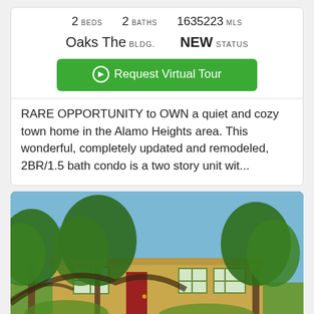2 BEDS   2 BATHS   1635223 MLS
Oaks The BLDG.   NEW STATUS
Request Virtual Tour
RARE OPPORTUNITY to OWN a quiet and cozy town home in the Alamo Heights area. This wonderful, completely updated and remodeled, 2BR/1.5 bath condo is a two story unit wit...
[Figure (photo): Exterior photo of a single-story residential home with large green trees in the foreground, tan/yellow stucco walls, green-trimmed windows, and a red front door.]